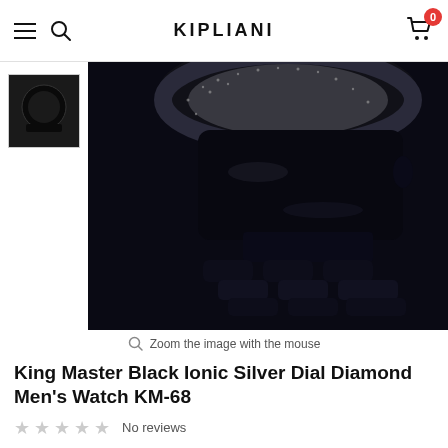KIPLIANI
[Figure (photo): Close-up product photo of a black ionic watch with diamond bezel and black metal bracelet band. A small thumbnail image of the watch is shown on the left.]
Zoom the image with the mouse
King Master Black Ionic Silver Dial Diamond Men's Watch KM-68
No reviews
Availability: In stock